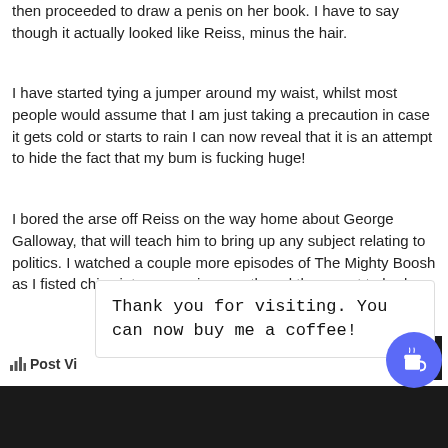then proceeded to draw a penis on her book. I have to say though it actually looked like Reiss, minus the hair.
I have started tying a jumper around my waist, whilst most people would assume that I am just taking a precaution in case it gets cold or starts to rain I can now reveal that it is an attempt to hide the fact that my bum is fucking huge!
I bored the arse off Reiss on the way home about George Galloway, that will teach him to bring up any subject relating to politics. I watched a couple more episodes of The Mighty Boosh as I fisted chips into my gaping mouth and then went to bed.
Post Vi
Thank you for visiting. You can now buy me a coffee!